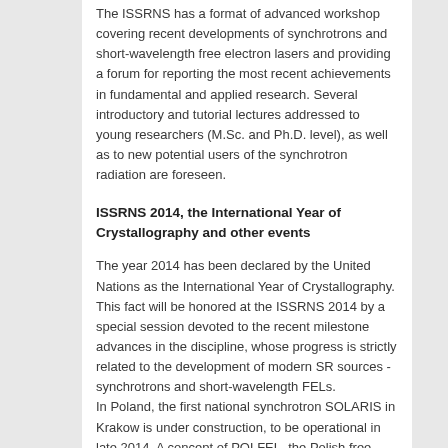The ISSRNS has a format of advanced workshop covering recent developments of synchrotrons and short-wavelength free electron lasers and providing a forum for reporting the most recent achievements in fundamental and applied research. Several introductory and tutorial lectures addressed to young researchers (M.Sc. and Ph.D. level), as well as to new potential users of the synchrotron radiation are foreseen.
ISSRNS 2014, the International Year of Crystallography and other events
The year 2014 has been declared by the United Nations as the International Year of Crystallography. This fact will be honored at the ISSRNS 2014 by a special session devoted to the recent milestone advances in the discipline, whose progress is strictly related to the development of modern SR sources - synchrotrons and short-wavelength FELs.
In Poland, the first national synchrotron SOLARIS in Krakow is under construction, to be operational in late 2014. A concept of POLFEL, the Polish free electron laser proposed to be